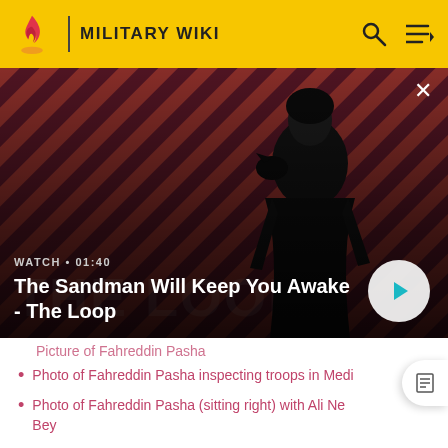MILITARY WIKI
[Figure (screenshot): Video thumbnail showing a man in a dark coat with a raven on his shoulder against a diagonal striped red/dark background. Text overlay: 'WATCH • 01:40' and 'The Sandman Will Keep You Awake - The Loop' with a play button.]
Photo of Fahreddin Pasha inspecting troops in Medi
Photo of Fahreddin Pasha (sitting right) with Ali Ne Bey
Sources